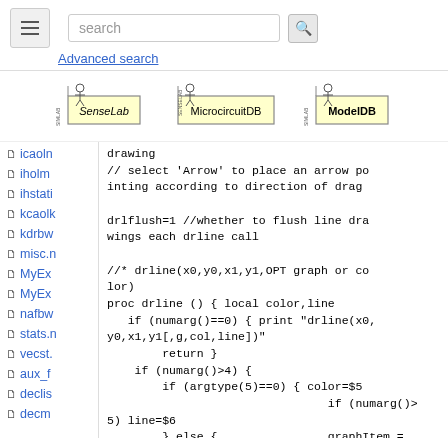[Figure (screenshot): Top navigation bar with hamburger menu, search box, search button, and Advanced search link]
[Figure (logo): Three logos: SenseLab, MicrocircuitDB, ModelDB]
icaoln
iholm
ihstati
kcaolk
kdrbw
misc.n
MyEx
MyEx
nafbw
stats.n
vecst.
aux_f
declis
decm
drawing
// select 'Arrow' to place an arrow pointing according to direction of drag

drlflush=1 //whether to flush line drawings each drline call

/* drline(x0,y0,x1,y1,OPT graph or color)
proc drline () { local color,line
   if (numarg()==0) { print "drline(x0,y0,x1,y1[,g,col,line])"
        return }
    if (numarg()>4) {
        if (argtype(5)==0) { color=$5
                                    if (numarg()>5) line=$6
        } else {                graphItem = $o5